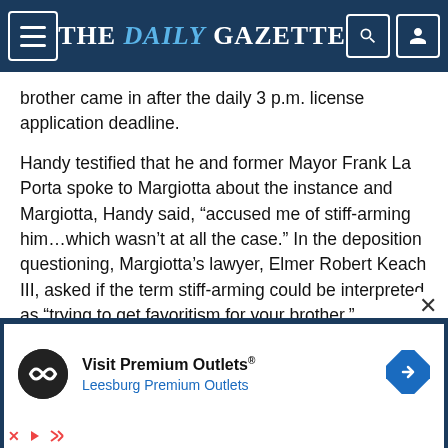THE DAILY GAZETTE
brother came in after the daily 3 p.m. license application deadline.
Handy testified that he and former Mayor Frank La Porta spoke to Margiotta about the instance and Margiotta, Handy said, “accused me of stiff-arming him…which wasn’t at all the case.” In the deposition questioning, Margiotta’s lawyer, Elmer Robert Keach III, asked if the term stiff-arming could be interpreted as “trying to get favoritism for your brother.”
[Figure (infographic): Advertisement banner for Visit Premium Outlets - Leesburg Premium Outlets with logo and arrow icon]